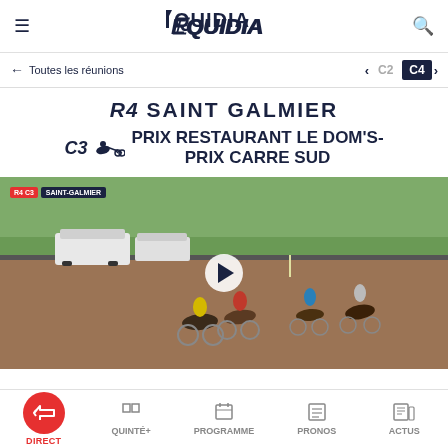EQUIDIA
← Toutes les réunions | < C2  C4 >
R4 SAINT GALMIER
C3 🏇 PRIX RESTAURANT LE DOM'S- PRIX CARRE SUD
[Figure (photo): Horse harness racing at Saint-Galmier track, several horses and sulky drivers racing on a dirt track with white vans visible in background. Overlay shows R4 C3 SAINT-GALMIER badge and a white play button in center.]
DIRECT | QUINTÉ+ | PROGRAMME | PRONOS | ACTUS